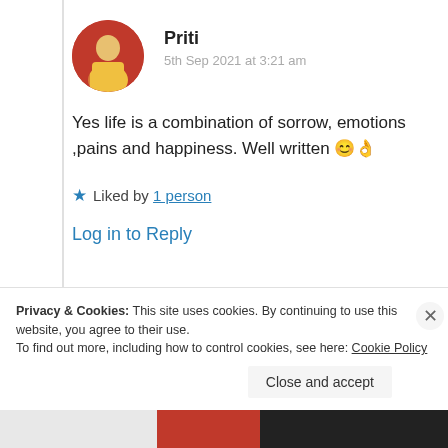Priti
5th Sep 2021 at 3:21 am
Yes life is a combination of sorrow, emotions ,pains and happiness. Well written 😊👌
★ Liked by 1 person
Log in to Reply
Privacy & Cookies: This site uses cookies. By continuing to use this website, you agree to their use.
To find out more, including how to control cookies, see here: Cookie Policy
Close and accept